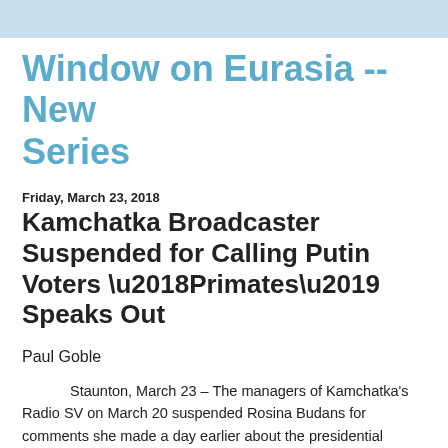Window on Eurasia -- New Series
Friday, March 23, 2018
Kamchatka Broadcaster Suspended for Calling Putin Voters ‘Primates’ Speaks Out
Paul Goble
Staunton, March 23 – The managers of Kamchatka’s Radio SV on March 20 suspended Rosina Budans for comments she made a day earlier about the presidential election in which she described those who voted for Vladimir Putin as “primates.” Her remarks have sparked discussions on social media across Russia, and she has now spoken out about her case.